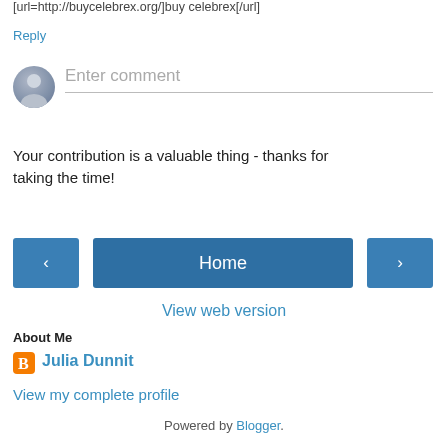[url=http://buycelebrex.org/]buy celebrex[/url]
Reply
[Figure (other): User avatar placeholder circle with grey silhouette icon, next to an 'Enter comment' input field placeholder]
Your contribution is a valuable thing - thanks for taking the time!
[Figure (other): Navigation buttons: left arrow button, Home button, right arrow button]
View web version
About Me
[Figure (logo): Blogger orange B icon]
Julia Dunnit
View my complete profile
Powered by Blogger.